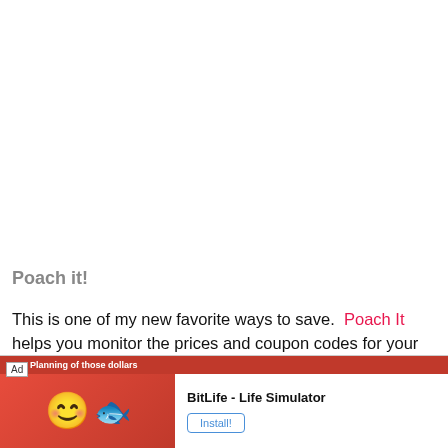Poach it!
This is one of my new favorite ways to save.  Poach It helps you monitor the prices and coupon codes for your wish list items.  Shopping is always a gamble, isn't it?  Do you wait for the item to go on clearance and risk losing it forever or not being able to snag it in the right color or size?  Do you risk purchasing it and then seeing it go on sale a few days or [text continues] ...ng full
[Figure (screenshot): Advertisement overlay for BitLife - Life Simulator app with red background, emoji icons, app name, and Install button]